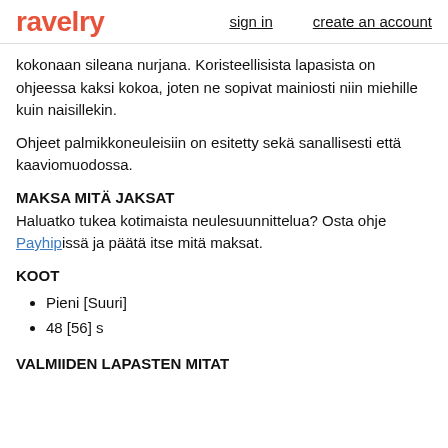ravelry | sign in | create an account
kokonaan sileana nurjana. Koristeellisista lapasista on ohjeessa kaksi kokoa, joten ne sopivat mainiosti niin miehille kuin naisillekin.
Ohjeet palmikkoneuleisiin on esitetty sekä sanallisesti että kaaviomuodossa.
MAKSA MITÄ JAKSAT
Haluatko tukea kotimaista neulesuunnittelua? Osta ohje Payhipissä ja päätä itse mitä maksat.
KOOT
Pieni [Suuri]
48 [56] s
VALMIIDEN LAPASTEN MITAT